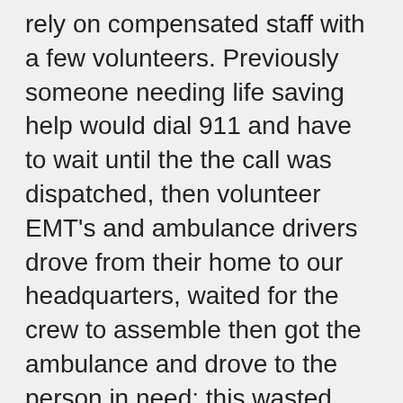rely on compensated staff with a few volunteers. Previously someone needing life saving help would dial 911 and have to wait until the the call was dispatched, then volunteer EMT's and ambulance drivers drove from their home to our headquarters, waited for the crew to assemble then got the ambulance and drove to the person in need; this wasted critical time. Volunteering is noble, kind and honorable; however, we felt it was in the best interest of the community to respond rapidly with two EMT's using a licensed ambulance rather than continue the tradition of volunteerism. Our headquarters is now staffed 24/7 and we are ready to respond within a moments notice. Compensated staff